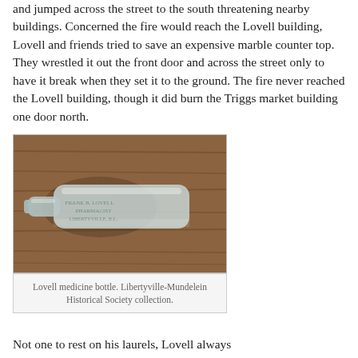and jumped across the street to the south threatening nearby buildings. Concerned the fire would reach the Lovell building, Lovell and friends tried to save an expensive marble counter top. They wrestled it out the front door and across the street only to have it break when they set it to the ground. The fire never reached the Lovell building, though it did burn the Triggs market building one door north.
[Figure (photo): An antique clear glass medicine bottle lying on a wooden surface. The bottle has embossed text reading FRANK B. LOVELL PHARMACIST LIBERTYVILLE ILL.]
Lovell medicine bottle. Libertyville-Mundelein Historical Society collection.
Not one to rest on his laurels, Lovell always